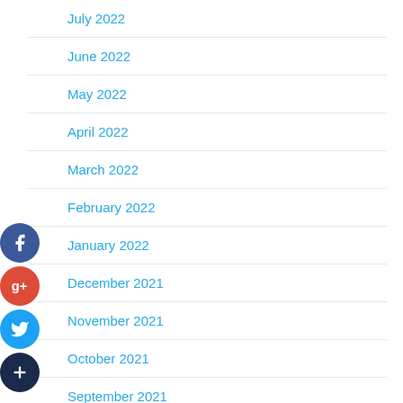July 2022
June 2022
May 2022
April 2022
March 2022
February 2022
January 2022
December 2021
November 2021
October 2021
September 2021
August 2021
July 2021